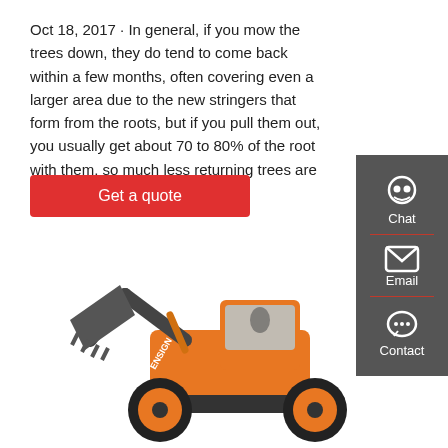Oct 18, 2017 · In general, if you mow the trees down, they do tend to come back within a few months, often covering even a larger area due to the new stringers that form from the roots, but if you pull them out, you usually get about 70 to 80% of the root with them, so much less returning trees are seen.
Get a quote
[Figure (screenshot): Dark grey sidebar with Chat (headset icon), Email (envelope icon), and Contact (speech bubble icon) buttons]
[Figure (photo): Orange ENSIGN front loader / wheel loader construction machine with large bucket raised, set against white background]